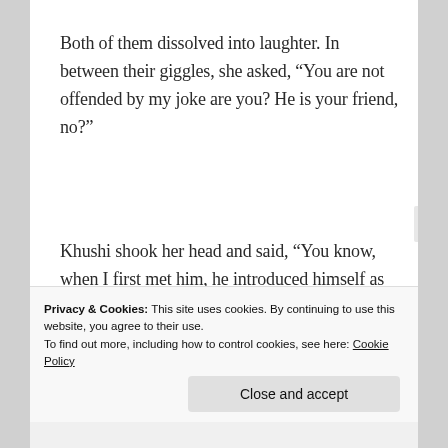Both of them dissolved into laughter. In between their giggles, she asked, “You are not offended by my joke are you? He is your friend, no?”
Khushi shook her head and said, “You know, when I first met him, he introduced himself as ‘Hi, Am Arnav Singh Raizada’ and I immediately curtsied
Privacy & Cookies: This site uses cookies. By continuing to use this website, you agree to their use.
To find out more, including how to control cookies, see here: Cookie Policy
Close and accept